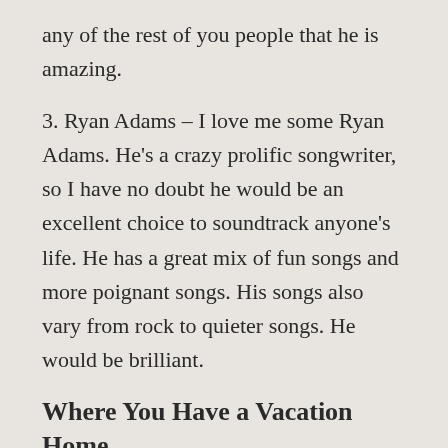any of the rest of you people that he is amazing.
3. Ryan Adams – I love me some Ryan Adams. He's a crazy prolific songwriter, so I have no doubt he would be an excellent choice to soundtrack anyone's life. He has a great mix of fun songs and more poignant songs. His songs also vary from rock to quieter songs. He would be brilliant.
Where You Have a Vacation Home
1. A lake house in the woods – I have always wanted a lake house with a dock and a little speedboat docked at it. I would love to have a